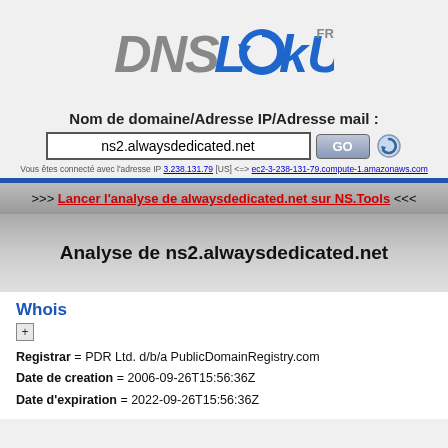[Figure (logo): DNSLookup.fr logo with stylized text and circular arrow graphic]
Nom de domaine/Adresse IP/Adresse mail :
ns2.alwaysdedicated.net [input field] GO [refresh button]
Vous êtes connecté avec l'adresse IP 3.238.131.79 [US] <=> ec2-3-238-131-79.compute-1.amazonaws.com
>>> Lancer l'analyse de alwaysdedicated.net sur NS.Tools <<<
Analyse de ns2.alwaysdedicated.net
Whois
Registrar = PDR Ltd. d/b/a PublicDomainRegistry.com
Date de creation = 2006-09-26T15:56:36Z
Date d'expiration = 2022-09-26T15:56:36Z